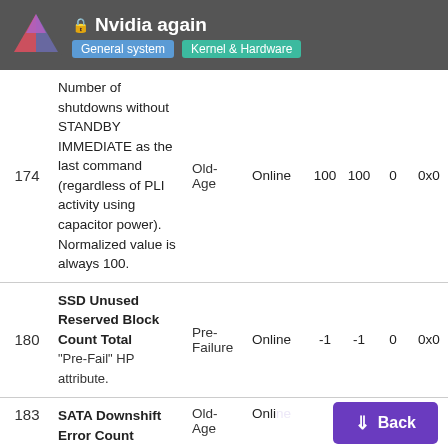Nvidia again | General system | Kernel & Hardware
| ID | Attribute | Type | Status | Val | Worst | Thresh | Raw |
| --- | --- | --- | --- | --- | --- | --- | --- |
| 174 | Number of shutdowns without STANDBY IMMEDIATE as the last command (regardless of PLI activity using capacitor power). Normalized value is always 100. | Old-Age | Online | 100 | 100 | 0 | 0x0 |
| 180 | SSD Unused Reserved Block Count Total
"Pre-Fail" HP attribute. | Pre-Failure | Online | -1 | -1 | 0 | 0x0 |
| 183 | SATA Downshift Error Count
Western Digital and Samsung attribute. | Old-Age | Online |  |  |  |  |
2 / 36